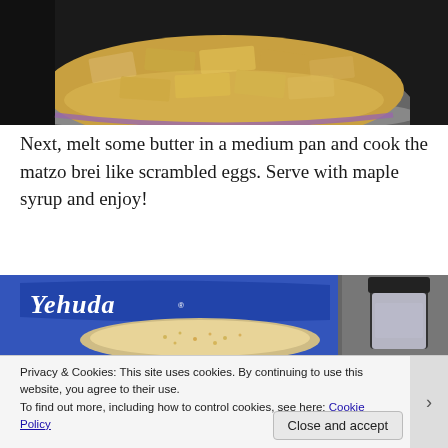[Figure (photo): Bowl of matzo brei soaking in egg mixture, viewed from above on dark background]
Next, melt some butter in a medium pan and cook the matzo brei like scrambled eggs. Serve with maple syrup and enjoy!
[Figure (photo): Yehuda matzo box with matzo crackers visible and a seasoning jar on the right side]
Privacy & Cookies: This site uses cookies. By continuing to use this website, you agree to their use.
To find out more, including how to control cookies, see here: Cookie Policy